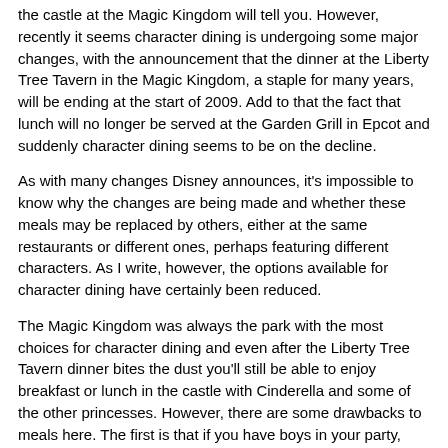the castle at the Magic Kingdom will tell you. However, recently it seems character dining is undergoing some major changes, with the announcement that the dinner at the Liberty Tree Tavern in the Magic Kingdom, a staple for many years, will be ending at the start of 2009. Add to that the fact that lunch will no longer be served at the Garden Grill in Epcot and suddenly character dining seems to be on the decline.
As with many changes Disney announces, it's impossible to know why the changes are being made and whether these meals may be replaced by others, either at the same restaurants or different ones, perhaps featuring different characters. As I write, however, the options available for character dining have certainly been reduced.
The Magic Kingdom was always the park with the most choices for character dining and even after the Liberty Tree Tavern dinner bites the dust you'll still be able to enjoy breakfast or lunch in the castle with Cinderella and some of the other princesses. However, there are some drawbacks to meals here. The first is that if you have boys in your party, they may not be too keen to dine amongst princesses. The second is the cost.
Eating here isn't cheap. Breakfast will set you back $33.99 for adults and $22.99 for children, while lunch will cost you $35.99 if you're a grown up and $23.99 if you're aged between 3 and 9. If you're on any of